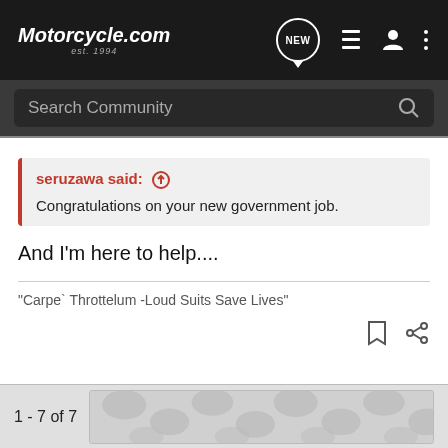Motorcycle.com est. 1994
Search Community
seruzawa said: ↑
Congratulations on your new government job.
And I'm here to help....
"Carpe` Throttelum -Loud Suits Save Lives"
1 - 7 of 7